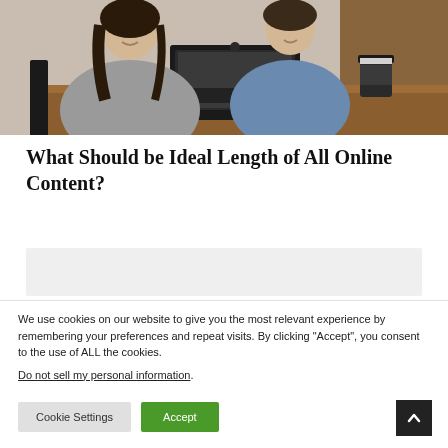[Figure (photo): Two women sitting at a wooden desk, smiling and working together on a laptop. A coffee cup is visible on the right side of the desk.]
What Should be Ideal Length of All Online Content?
We use cookies on our website to give you the most relevant experience by remembering your preferences and repeat visits. By clicking “Accept”, you consent to the use of ALL the cookies.
Do not sell my personal information.